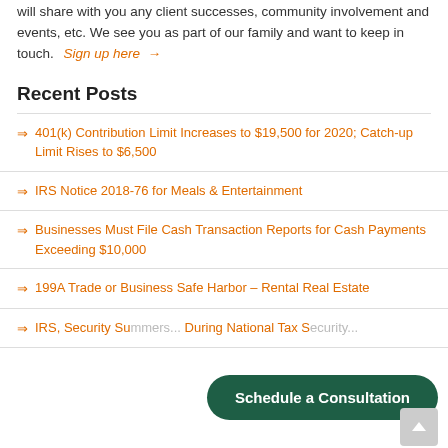will share with you any client successes, community involvement and events, etc. We see you as part of our family and want to keep in touch.  Sign up here →
Recent Posts
→ 401(k) Contribution Limit Increases to $19,500 for 2020; Catch-up Limit Rises to $6,500
→ IRS Notice 2018-76 for Meals & Entertainment
→ Businesses Must File Cash Transaction Reports for Cash Payments Exceeding $10,000
→ 199A Trade or Business Safe Harbor – Rental Real Estate
→ IRS, Security Su... During National Tax S...